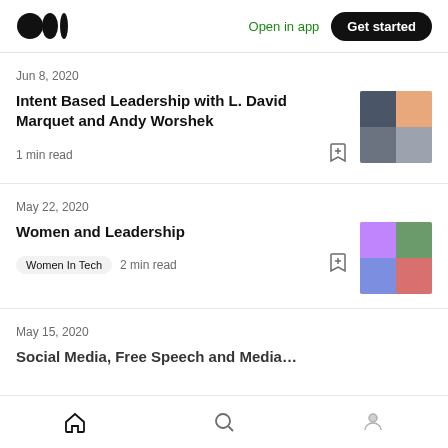Medium logo | Open in app | Get started
Jun 8, 2020
Intent Based Leadership with L. David Marquet and Andy Worshek
1 min read
May 22, 2020
Women and Leadership
Women In Tech  2 min read
May 15, 2020
Home | Search | Profile